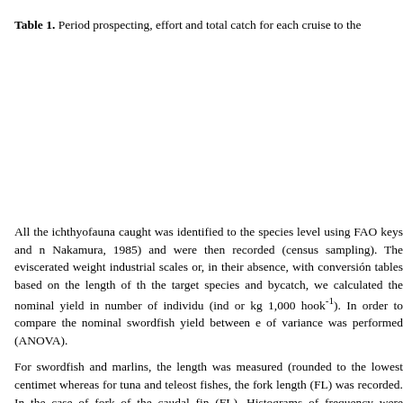Table 1. Period prospecting, effort and total catch for each cruise to the...
All the ichthyofauna caught was identified to the species level using FAO keys and r... Nakamura, 1985) and were then recorded (census sampling). The eviscerated weight... industrial scales or, in their absence, with conversión tables based on the length of th... the target species and bycatch, we calculated the nominal yield in number of individu... (ind or kg 1,000 hook-1). In order to compare the nominal swordfish yield between e... of variance was performed (ANOVA).
For swordfish and marlins, the length was measured (rounded to the lowest centimet... whereas for tuna and teleost fishes, the fork length (FL) was recorded. In the case of... fork of the caudal fin (FL). Histograms of frequency were obtained for the target spe... One-way ANOVA was used to compare the average sizes of both swordfish and blue... determined through macroscopic observa-tion of the gonads, whereas in the elasm...